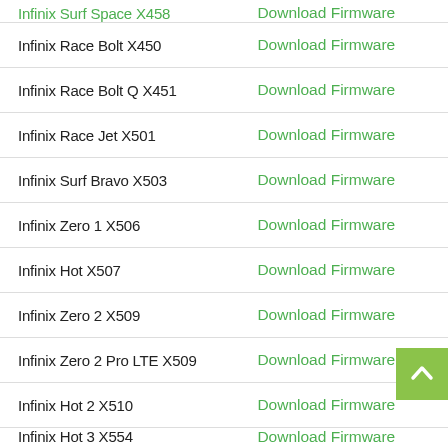| Device | Link |
| --- | --- |
| Infinix Surf Space X458 | Download Firmware |
| Infinix Race Bolt X450 | Download Firmware |
| Infinix Race Bolt Q X451 | Download Firmware |
| Infinix Race Jet X501 | Download Firmware |
| Infinix Surf Bravo X503 | Download Firmware |
| Infinix Zero 1 X506 | Download Firmware |
| Infinix Hot X507 | Download Firmware |
| Infinix Zero 2 X509 | Download Firmware |
| Infinix Zero 2 Pro LTE X509 | Download Firmware |
| Infinix Hot 2 X510 | Download Firmware |
| Infinix Hot 3 X554 | Download Firmware |